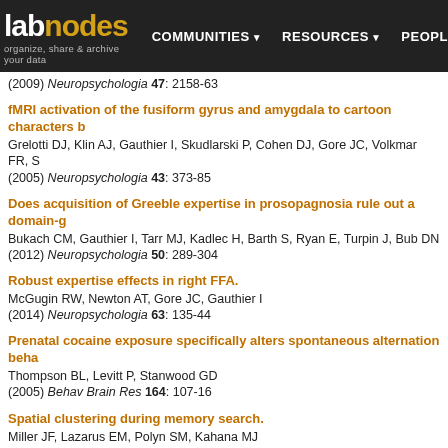labnodes | COMMUNITIES | RESOURCES | PEOPLE | organize, share & archive your data
(2009) Neuropsychologia 47: 2158-63
fMRI activation of the fusiform gyrus and amygdala to cartoon characters b...
Grelotti DJ, Klin AJ, Gauthier I, Skudlarski P, Cohen DJ, Gore JC, Volkmar FR, S...
(2005) Neuropsychologia 43: 373-85
Does acquisition of Greeble expertise in prosopagnosia rule out a domain-g...
Bukach CM, Gauthier I, Tarr MJ, Kadlec H, Barth S, Ryan E, Turpin J, Bub DN
(2012) Neuropsychologia 50: 289-304
Robust expertise effects in right FFA.
McGugin RW, Newton AT, Gore JC, Gauthier I
(2014) Neuropsychologia 63: 135-44
Prenatal cocaine exposure specifically alters spontaneous alternation beha...
Thompson BL, Levitt P, Stanwood GD
(2005) Behav Brain Res 164: 107-16
Spatial clustering during memory search.
Miller JF, Lazarus EM, Polyn SM, Kahana MJ
(2013) J Exp Psychol Learn Mem Cogn 39: 773-81
Automaticity of basic-level categorization accounts for labeling effects in vi...
Richler JJ, Gauthier I, Palmeri TJ
(2011) J Exp Psychol Learn Mem Cogn 37: 1579-87
In vivo neuroimaging and behavioral correlates in a rat model of chemoth...